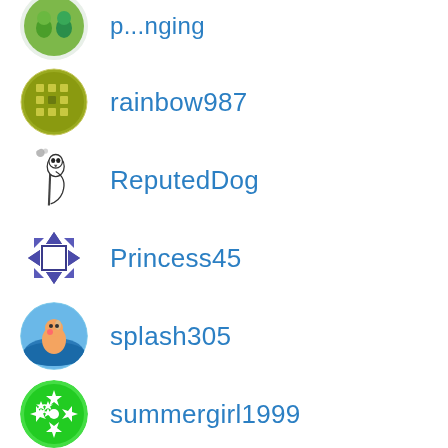rainbow987
ReputedDog
Princess45
splash305
summergirl1999
theadmiral1